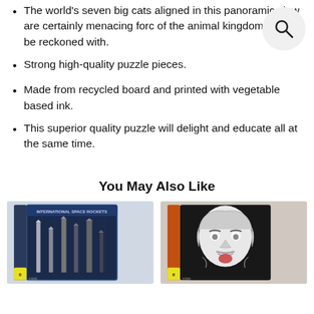The world's seven big cats aligned in this panoramic view are certainly menacing forces of the animal kingdom not to be reckoned with.
Strong high-quality puzzle pieces.
Made from recycled board and printed with vegetable based ink.
This superior quality puzzle will delight and educate all at the same time.
You May Also Like
[Figure (photo): Puzzle box showing International Space Rockets with rockets displayed on dark background]
[Figure (photo): Puzzle box showing Albert Einstein black and white portrait with tongue out]